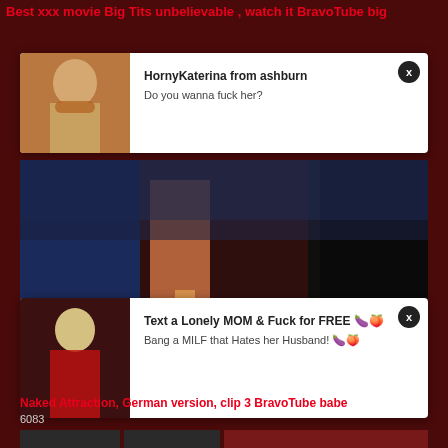Best xxx movie Big Tits unbelievable , watch it BravoTube big
[Figure (screenshot): Ad popup 1: woman in brown bikini, with text HornyKaterina from ashburn / Do you wanna fuck her?]
[Figure (screenshot): Ad popup 2: blonde woman in red outfit, with text Text a Lonely MOM & Fuck for FREE / Bang a MILF that Hates her Husband!]
[Figure (screenshot): Video thumbnail: Naked Attraction TV show, stage with figure, duration 14:26, Naked Attraction logo bottom left]
Naked Attraction, German version, clip 3 BravoTube babe
6083
[Figure (screenshot): Bottom thumbnail: partial view of adult content]